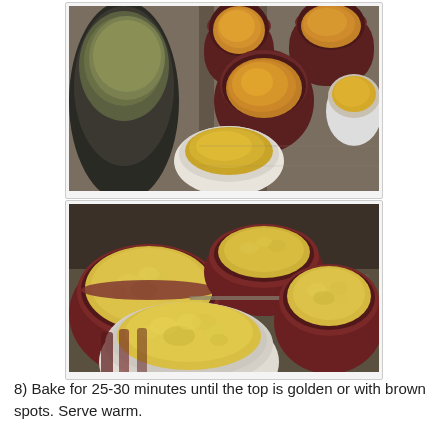[Figure (photo): Ramekins filled with an orange/amber liquid custard mixture on a metal baking tray, with a mixing bowl visible at the left edge.]
[Figure (photo): Ramekins filled with a pale yellow baked pudding mixture on a metal baking tray, showing a coarser, baked texture.]
8) Bake for 25-30 minutes until the top is golden or with brown spots. Serve warm.